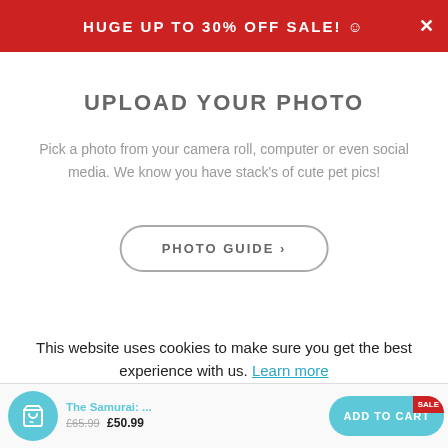HUGE UP TO 30% OFF SALE! ☺
Upload Your Photo
Pick a photo from your camera roll, computer or even social media. We know you have stack's of cute pet pics!
PHOTO GUIDE ›
This website uses cookies to make sure you get the best experience with us. Learn more
Decline
The Samurai: ... £65.99 £50.99 ADD TO CART SALE